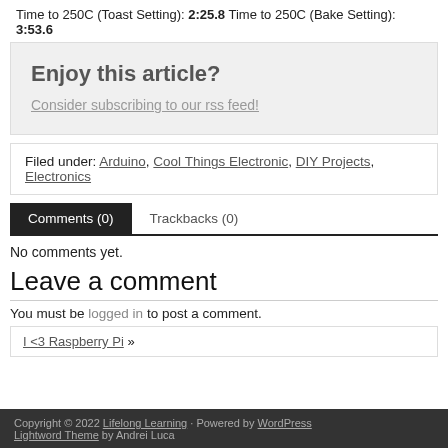Time to 250C (Toast Setting): 2:25.8 Time to 250C (Bake Setting): 3:53.6
Enjoy this article?
Consider subscribing to our rss feed!
Filed under: Arduino, Cool Things Electronic, DIY Projects, Electronics
Comments (0)   Trackbacks (0)
No comments yet.
Leave a comment
You must be logged in to post a comment.
I <3 Raspberry Pi »
Copyright © 2022 Lifelong Learning · Powered by WordPress Lightword Theme by Andrei Luca